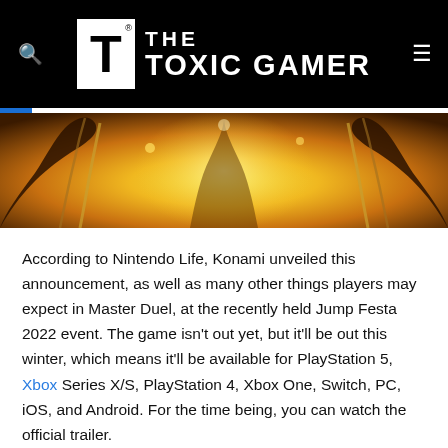THE TOXIC GAMER
[Figure (illustration): Hero banner image showing a stylized anime/game character with golden chains and bright yellow-orange light radiating from behind, dark silhouette figures on either side.]
According to Nintendo Life, Konami unveiled this announcement, as well as many other things players may expect in Master Duel, at the recently held Jump Festa 2022 event. The game isn't out yet, but it'll be out this winter, which means it'll be available for PlayStation 5, Xbox Series X/S, PlayStation 4, Xbox One, Switch, PC, iOS, and Android. For the time being, you can watch the official trailer.
As noted by Nintendo Life, duelists can expect the following features in Master Duel